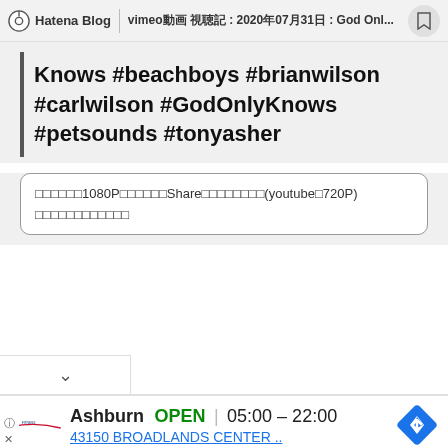Hatena Blog | vimeo動画 視聴記 : 2020年07月31日 : God Onl...
Knows #beachboys #brianwilson #carlwilson #GodOnlyKnows #petsounds #tonyasher
□□□□□□1080P□□□□□□Share□□□□□□□□(youtube□720P)
□□□□□□□□□□□□
[Figure (screenshot): Advertisement for LA Fitness in Ashburn showing OPEN 05:00-22:00 and address 43150 BROADLANDS CENTER with navigation diamond icon]